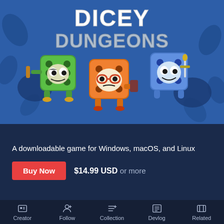[Figure (illustration): Dicey Dungeons game banner showing three cartoon dice characters — a green pirate die, an orange die with glasses, and a blue die with a sword — on a blue dungeon background with the title 'DICEY DUNGEONS' in large white letters]
A downloadable game for Windows, macOS, and Linux
Buy Now  $14.99 USD or more
Creator  Follow  Collection  Devlog  Related